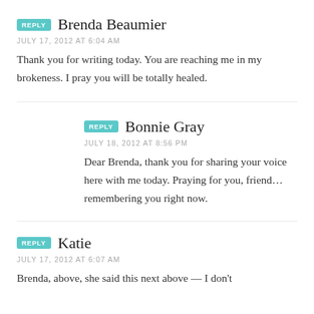REPLY  Brenda Beaumier
JULY 17, 2012 AT 6:04 AM
Thank you for writing today. You are reaching me in my brokeness. I pray you will be totally healed.
REPLY  Bonnie Gray
JULY 18, 2012 AT 8:56 PM
Dear Brenda, thank you for sharing your voice here with me today. Praying for you, friend… remembering you right now.
REPLY  Katie
JULY 17, 2012 AT 6:07 AM
Brenda, above, she said this next above — I don't